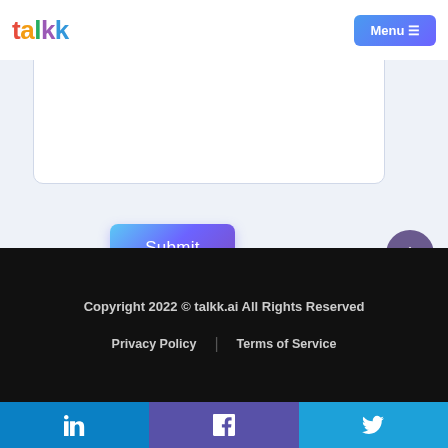talkk | Menu
Comment
Submit
Copyright 2022 © talkk.ai All Rights Reserved
Privacy Policy | Terms of Service
[Figure (other): Social media share bar with LinkedIn, Facebook, and Twitter icons]